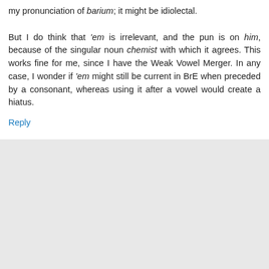my pronunciation of barium; it might be idiolectal.

But I do think that 'em is irrelevant, and the pun is on him, because of the singular noun chemist with which it agrees. This works fine for me, since I have the Weak Vowel Merger. In any case, I wonder if 'em might still be current in BrE when preceded by a consonant, whereas using it after a vowel would create a hiatus.
Reply
Replies
Unknown  10 December 2012 at 12:20
I think it's most definitely meant to be singular (non-gender-specific) "them". Speaking as a member of a university chemistry department where the academics are roughly equally distributed between male and female, and female students outnumber the males by nearly 60:40, it's hardly a male-dominated field.